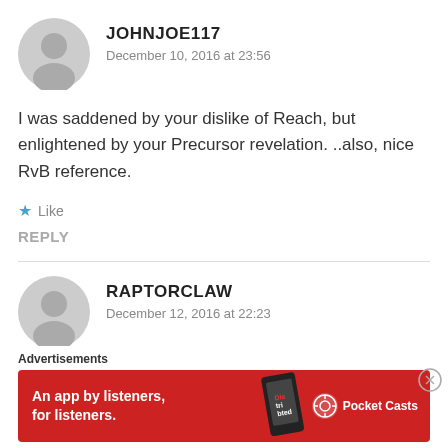[Figure (illustration): Gray circular avatar placeholder icon for user JOHNJOE117]
JOHNJOE117
December 10, 2016 at 23:56
I was saddened by your dislike of Reach, but enlightened by your Precursor revelation. ..also, nice RvB reference.
★ Like
REPLY
[Figure (illustration): Gray circular avatar placeholder icon for user RAPTORCLAW]
RAPTORCLAW
December 12, 2016 at 22:23
Advertisements
[Figure (infographic): Pocket Casts advertisement banner: An app by listeners, for listeners.]